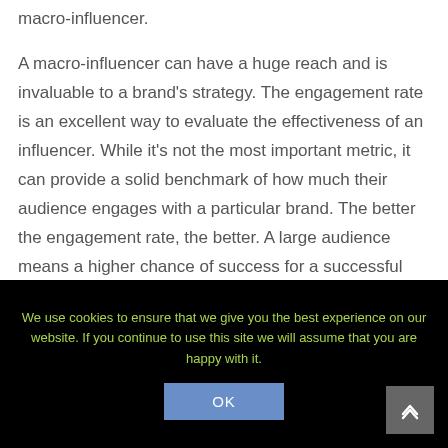macro-influencer.
A macro-influencer can have a huge reach and is invaluable to a brand's strategy. The engagement rate is an excellent way to evaluate the effectiveness of an influencer. While it's not the most important metric, it can provide a solid benchmark of how much their audience engages with a particular brand. The better the engagement rate, the better. A large audience means a higher chance of success for a successful campaign.
While many marketers choose to use macro-influencers to
We use cookies to ensure that we give you the best experience on our website. If you continue to use this site we will assume that you are happy with it.